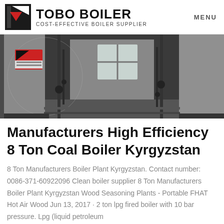TOBO BOILER — COST-EFFECTIVE BOILER SUPPLIER | MENU
[Figure (photo): Interior industrial boiler room showing two large cylindrical steel boilers with piping, valves, and a window in the background. A red and black manufacturer logo sign is visible on the left boiler.]
Manufacturers High Efficiency 8 Ton Coal Boiler Kyrgyzstan
8 Ton Manufacturers Boiler Plant Kyrgyzstan. Contact number: 0086-371-60922096 Clean boiler supplier 8 Ton Manufacturers Boiler Plant Kyrgyzstan Wood Seasoning Plants - Portable FHAT Hot Air Wood Jun 13, 2017 · 2 ton lpg fired boiler with 10 bar pressure. Lpg (liquid petroleum